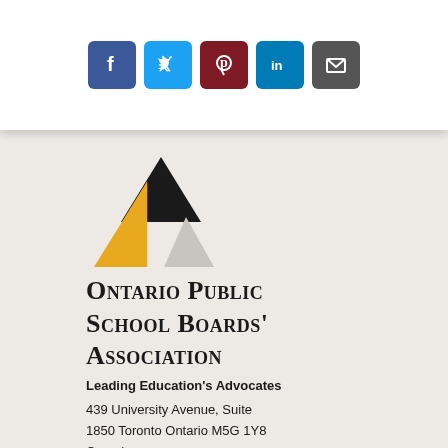[Figure (infographic): Social media sharing buttons: Facebook (dark blue), Twitter (light blue), Pinterest (dark red), LinkedIn (teal blue), Email (dark grey)]
[Figure (logo): Ontario Public School Boards' Association logo: three overlapping triangles in black, gold/yellow, and light grey forming a larger triangle shape]
Ontario Public School Boards' Association
Leading Education's Advocates
439 University Avenue, Suite
1850 Toronto Ontario M5G 1Y8
Canada